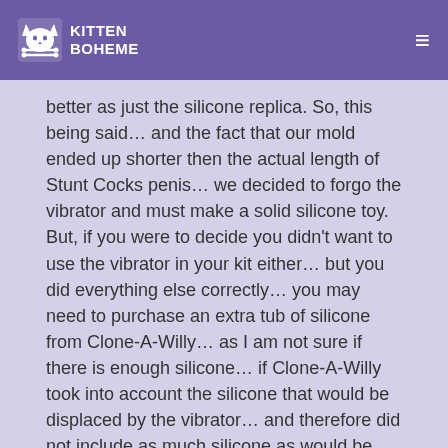KITTEN BOHEME
better as just the silicone replica. So, this being said… and the fact that our mold ended up shorter then the actual length of Stunt Cocks penis… we decided to forgo the vibrator and must make a solid silicone toy. But, if you were to decide you didn't want to use the vibrator in your kit either… but you did everything else correctly… you may need to purchase an extra tub of silicone from Clone-A-Willy… as I am not sure if there is enough silicone… if Clone-A-Willy took into account the silicone that would be displaced by the vibrator… and therefore did not include as much silicone as would be needed for a solid toy… does that make sense? I could just be talking wildly out my ass (I've been known to do that from time to time)… but extra silicone can be easily purchased straight